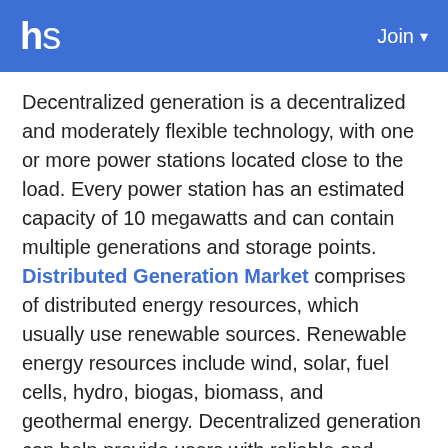hs  Join
Decentralized generation is a decentralized and moderately flexible technology, with one or more power stations located close to the load. Every power station has an estimated capacity of 10 megawatts and can contain multiple generations and storage points. Distributed Generation Market comprises of distributed energy resources, which usually use renewable sources. Renewable energy resources include wind, solar, fuel cells, hydro, biogas, biomass, and geothermal energy. Decentralized generation can help provide users with reliable and clean energy while mitigating losses during transmission. The current electricity distribution system worldwide is dominated by a centralized system.